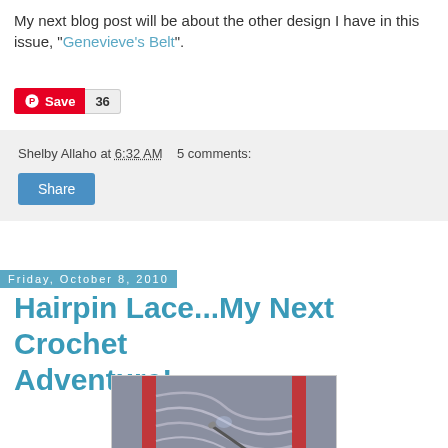My next blog post will be about the other design I have in this issue, "Genevieve's Belt".
[Figure (other): Pinterest Save button with count 36]
Shelby Allaho at 6:32 AM   5 comments:
Share
Friday, October 8, 2010
Hairpin Lace...My Next Crochet Adventure!
[Figure (photo): Close-up photo of hairpin lace crochet in progress with red hairpin loom and crochet hook working gray yarn loops]